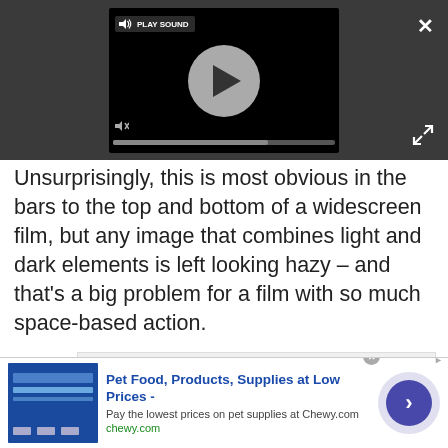[Figure (screenshot): Video player embedded in dark gray background with play button, sound/mute controls, progress bar, close X button, and expand icon]
Unsurprisingly, this is most obvious in the bars to the top and bottom of a widescreen film, but any image that combines light and dark elements is left looking hazy – and that's a big problem for a film with so much space-based action.
[Figure (other): Advertisement placeholder box with light gray background]
[Figure (other): Bottom banner advertisement for Chewy.com: Pet Food, Products, Supplies at Low Prices. Pay the lowest prices on pet supplies at Chewy.com. chewy.com. With arrow button and close button.]